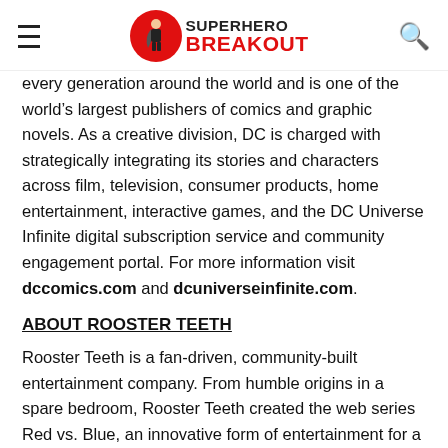SUPERHERO BREAKOUT
every generation around the world and is one of the world’s largest publishers of comics and graphic novels. As a creative division, DC is charged with strategically integrating its stories and characters across film, television, consumer products, home entertainment, interactive games, and the DC Universe Infinite digital subscription service and community engagement portal. For more information visit dccomics.com and dcuniverseinfinite.com.
ABOUT ROOSTER TEETH
Rooster Teeth is a fan-driven, community-built entertainment company. From humble origins in a spare bedroom, Rooster Teeth created the web series Red vs. Blue, an innovative form of entertainment for a changing